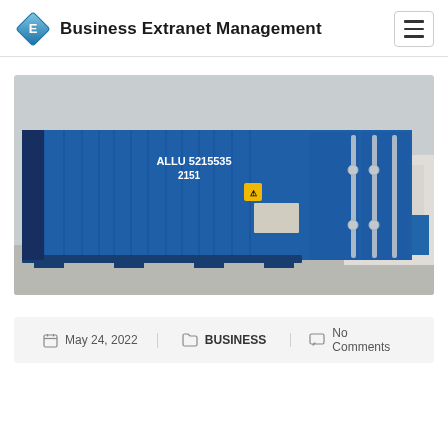Business Extranet Management
[Figure (photo): A blue shipping/storage container photographed outdoors. Container is labeled ALLU 5215535 2151 on its side. Doors visible on the right side with locking bars. Another blue container visible in background. Concrete ground.]
May 24, 2022 | BUSINESS | No Comments